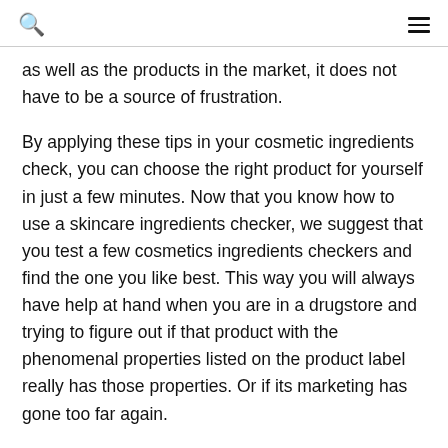🔍 ≡
as well as the products in the market, it does not have to be a source of frustration.
By applying these tips in your cosmetic ingredients check, you can choose the right product for yourself in just a few minutes. Now that you know how to use a skincare ingredients checker, we suggest that you test a few cosmetics ingredients checkers and find the one you like best. This way you will always have help at hand when you are in a drugstore and trying to figure out if that product with the phenomenal properties listed on the product label really has those properties. Or if its marketing has gone too far again.
With the right know-how and a useful tool like a skincare ingredients checker, you can now easily find products that suit your skin and which you will enjoy for a long time.